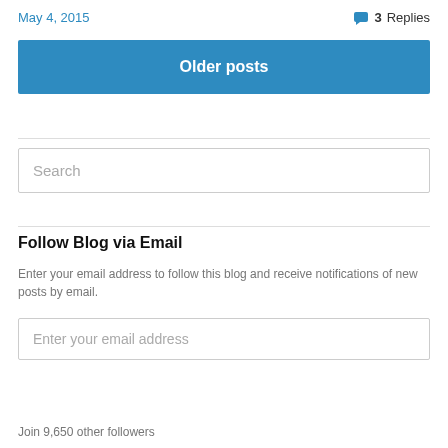May 4, 2015
3 Replies
Older posts
[Figure (other): Search input box with placeholder text 'Search']
Follow Blog via Email
Enter your email address to follow this blog and receive notifications of new posts by email.
[Figure (other): Email input box with placeholder 'Enter your email address' and Follow button]
Join 9,650 other followers